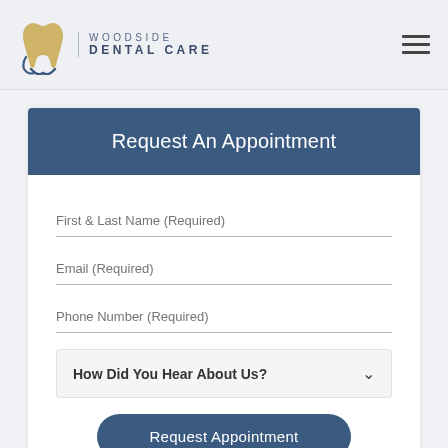[Figure (logo): Woodside Dental Care logo with tooth icon and text]
Request An Appointment
First & Last Name (Required)
Email (Required)
Phone Number (Required)
How Did You Hear About Us?
Request Appointment